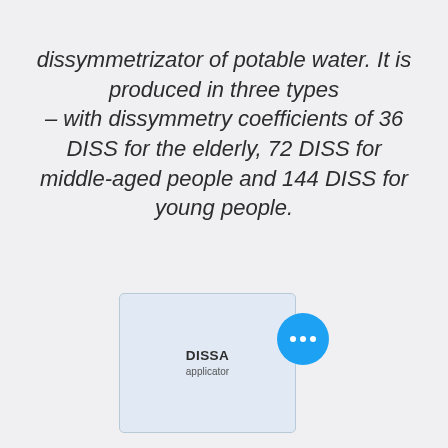dissymmetrizator of potable water. It is produced in three types – with dissymmetry coefficients of 36 DISS for the elderly, 72 DISS for middle-aged people and 144 DISS for young people.
[Figure (photo): Photo of a DISSA applicator product package (small transparent/frosted container with label reading 'DISSA applicator') with a blue circular button showing three dots (more options)]